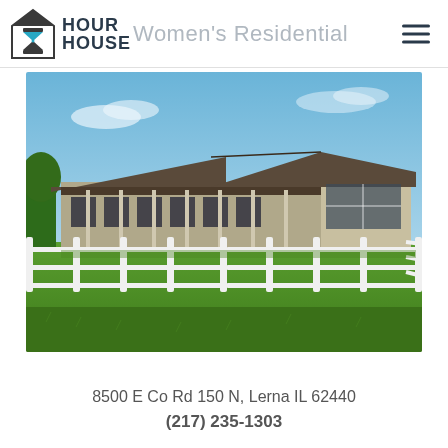Hour House Women's Residential
[Figure (photo): Exterior photo of a single-story ranch-style building with a dark roof and large windows, surrounded by a white three-rail fence and green lawn under a blue sky.]
8500 E Co Rd 150 N, Lerna IL 62440
(217) 235-1303